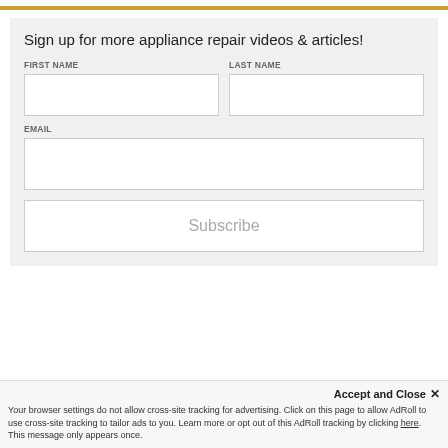Sign up for more appliance repair videos & articles!
FIRST NAME
LAST NAME
EMAIL
Subscribe
Accept and Close ✕
Your browser settings do not allow cross-site tracking for advertising. Click on this page to allow AdRoll to use cross-site tracking to tailor ads to you. Learn more or opt out of this AdRoll tracking by clicking here. This message only appears once.